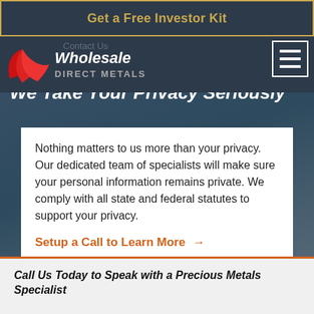Get a Free Investor Kit
[Figure (logo): Wholesale Direct Metals logo with red swoosh icon and white text on dark background]
We Take Your Privacy Seriously
Nothing matters to us more than your privacy. Our dedicated team of specialists will make sure your personal information remains private. We comply with all state and federal statutes to support your privacy.
Setup a Call to Learn More →
Call Us Today to Speak with a Precious Metals Specialist